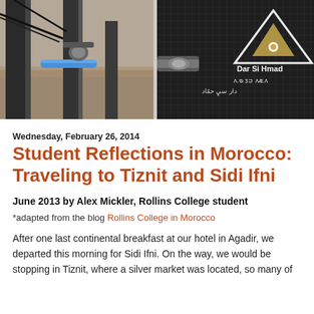[Figure (photo): Two-panel header image: left panel shows pipes/irrigation equipment in arid landscape, right panel shows close-up of water collection mesh netting with Dar Si Hmad organization logo and text overlay in white.]
Wednesday, February 26, 2014
Student Reflections in Morocco: Traveling to Tiznit and Sidi Ifni
June 2013 by Alex Mickler, Rollins College student
*adapted from the blog Rollins College in Morocco
After one last continental breakfast at our hotel in Agadir, we departed this morning for Sidi Ifni. On the way, we would be stopping in Tiznit, where a silver market was located, so many of